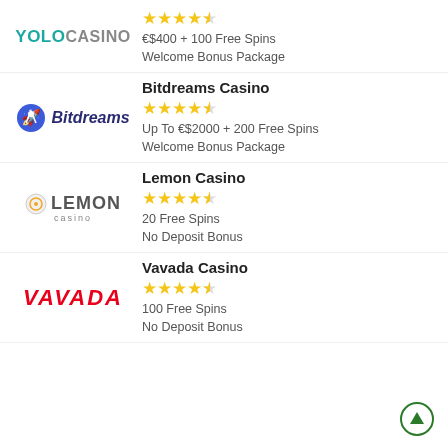[Figure (logo): YOLO Casino logo in teal/grey text]
€$400 + 100 Free Spins
Welcome Bonus Package
[Figure (logo): Bitdreams logo with rocket icon]
Bitdreams Casino
Up To €$2000 + 200 Free Spins
Welcome Bonus Package
[Figure (logo): Lemon Casino logo]
Lemon Casino
20 Free Spins
No Deposit Bonus
[Figure (logo): Vavada logo in red italic text]
Vavada Casino
100 Free Spins
No Deposit Bonus